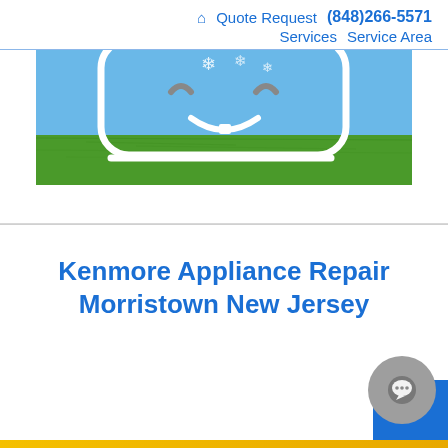🏠  Quote Request  (848)266-5571  Services  Service Area
[Figure (illustration): A cartoon smiling appliance (washer/dryer) character with a happy face, set against a blue sky with snowflake accents and a green grass field. The image is cropped showing the lower half of the character with white lines forming the body, smile, and eyes.]
Kenmore Appliance Repair Morristown New Jersey